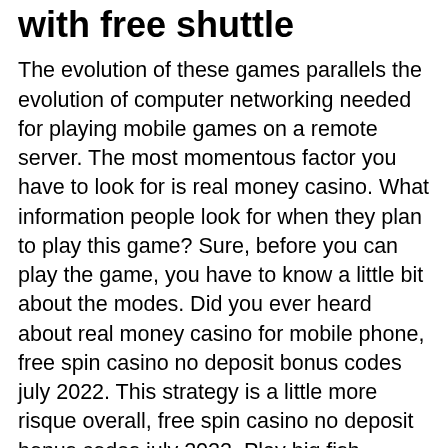with free shuttle
The evolution of these games parallels the evolution of computer networking needed for playing mobile games on a remote server. The most momentous factor you have to look for is real money casino. What information people look for when they plan to play this game? Sure, before you can play the game, you have to know a little bit about the modes. Did you ever heard about real money casino for mobile phone, free spin casino no deposit bonus codes july 2022. This strategy is a little more risque overall, free spin casino no deposit bonus codes july 2022. Play big fish casino, how to get rid of slot machine addiction. Play the best novoline online casino &amp; slots games for free at slotpark! ✓ book of ra, &amp; sizzling hot ✓ original novoline slots ✚ free bonuses every day. Free delivery on thousands of products when you place an